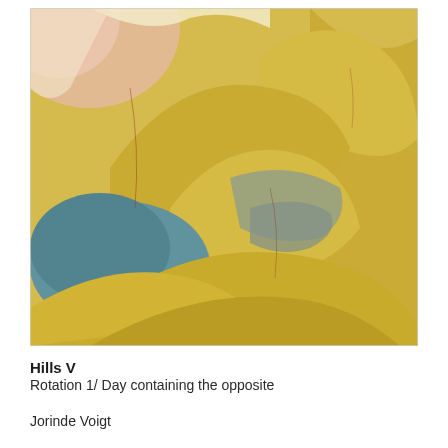[Figure (illustration): Abstract painting showing undulating golden-yellow hills or wave-like forms with curved shapes in blue, gray, and pink/orange tones in the upper left. The artwork has a textured, painterly quality with muted earth tones dominating and accent colors of teal blue and soft pink.]
Hills V
Rotation 1/ Day containing the opposite
Jorinde Voigt